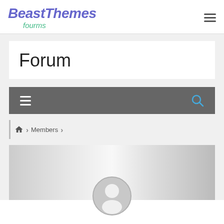BeastThemes fourms
Forum
[Figure (screenshot): Dark gray toolbar with hamburger menu icon on the left and search (magnifying glass) icon on the right]
Home > Members >
[Figure (photo): User profile banner with a blurred gray gradient background and a circular default avatar icon (silhouette of a person) centered at the bottom]